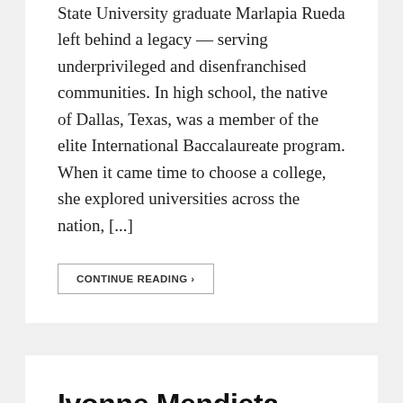State University graduate Marlapia Rueda left behind a legacy — serving underprivileged and disenfranchised communities. In high school, the native of Dallas, Texas, was a member of the elite International Baccalaureate program. When it came time to choose a college, she explored universities across the nation, [...]
CONTINUE READING ›
Ivonne Mendieta
PUBLISHED: JUNE 4, 2018 | 2:22 PM | POSTED IN: STUDENT STARS
Florida State University senior Ivonne Mendieta has